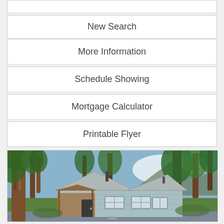New Search
More Information
Schedule Showing
Mortgage Calculator
Printable Flyer
[Figure (photo): Exterior photo of a light blue single-story cottage/cabin home surrounded by tall evergreen trees. The house has a metal roof, a covered front porch with wooden posts, and is set on a paved road. Mountains or hills visible in the background through the trees. Lush green vegetation surrounds the property.]